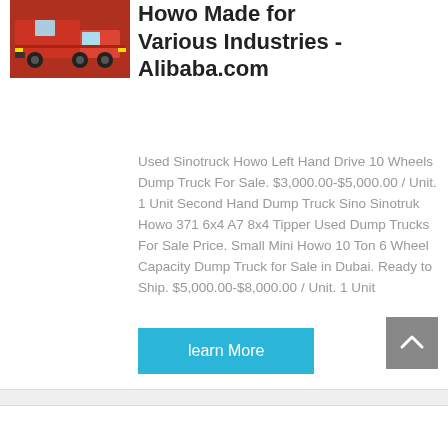[Figure (photo): Red Sinotruck Howo dump truck thumbnail image]
Howo Made for Various Industries - Alibaba.com
Used Sinotruck Howo Left Hand Drive 10 Wheels Dump Truck For Sale. $3,000.00-$5,000.00 / Unit. 1 Unit Second Hand Dump Truck Sino Sinotruk Howo 371 6x4 A7 8x4 Tipper Used Dump Trucks For Sale Price. Small Mini Howo 10 Ton 6 Wheel Capacity Dump Truck for Sale in Dubai. Ready to Ship. $5,000.00-$8,000.00 / Unit. 1 Unit
learn More